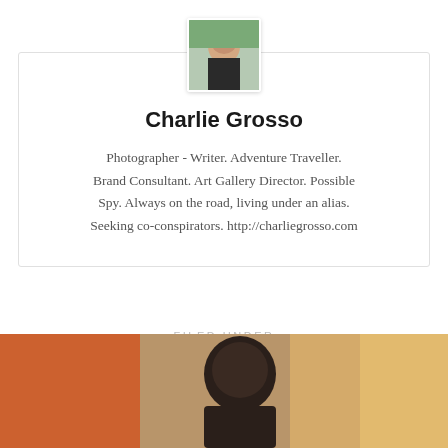[Figure (photo): Circular profile avatar photo of Charlie Grosso, a person in a dark sleeveless top, outdoors with greenery in background.]
Charlie Grosso
Photographer - Writer. Adventure Traveller. Brand Consultant. Art Gallery Director. Possible Spy. Always on the road, living under an alias. Seeking co-conspirators. http://charliegrosso.com
FILED UNDER
[Figure (photo): A blurred background photo showing a person with dark hair viewed from behind, with orange and warm-toned elements in a street or indoor setting.]